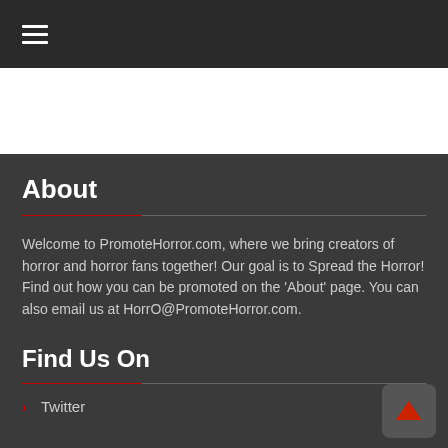≡ (hamburger menu)
[Figure (other): White banner/advertisement area]
About
Welcome to PromoteHorror.com, where we bring creators of horror and horror fans together! Our goal is to Spread the Horror! Find out how you can be promoted on the 'About' page. You can also email us at HorrO@PromoteHorror.com.
Find Us On
> Twitter